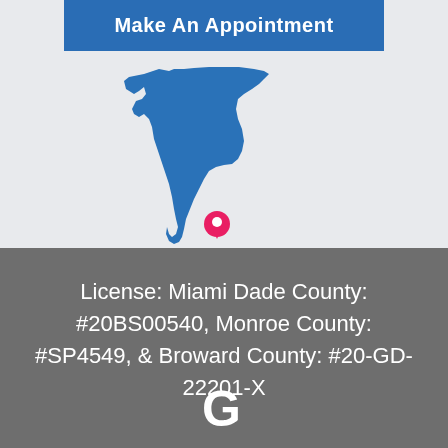Make An Appointment
[Figure (map): Silhouette map of Florida state in blue with a pink location pin marker near the south end (Miami-Dade area)]
License: Miami Dade County: #20BS00540, Monroe County: #SP4549, & Broward County: #20-GD-22201-X
[Figure (logo): Google logo G icon in white on grey background]